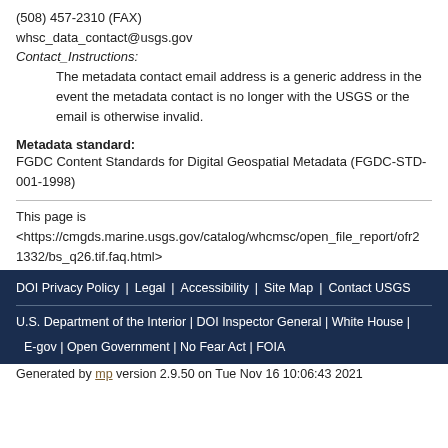(508) 457-2310 (FAX)
whsc_data_contact@usgs.gov
Contact_Instructions:
The metadata contact email address is a generic address in the event the metadata contact is no longer with the USGS or the email is otherwise invalid.
Metadata standard:
FGDC Content Standards for Digital Geospatial Metadata (FGDC-STD-001-1998)
This page is <https://cmgds.marine.usgs.gov/catalog/whcmsc/open_file_report/ofr2 1332/bs_q26.tif.faq.html>
DOI Privacy Policy | Legal | Accessibility | Site Map | Contact USGS
U.S. Department of the Interior | DOI Inspector General | White House | E-gov | Open Government | No Fear Act | FOIA
Generated by mp version 2.9.50 on Tue Nov 16 10:06:43 2021